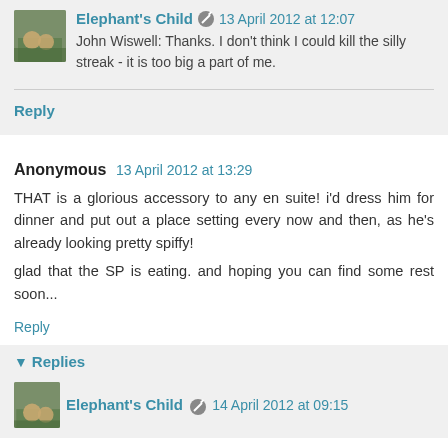Elephant's Child · 13 April 2012 at 12:07
John Wiswell: Thanks. I don't think I could kill the silly streak - it is too big a part of me.
Reply
Anonymous · 13 April 2012 at 13:29
THAT is a glorious accessory to any en suite! i'd dress him for dinner and put out a place setting every now and then, as he's already looking pretty spiffy!

glad that the SP is eating. and hoping you can find some rest soon...
Reply
▾ Replies
Elephant's Child · 14 April 2012 at 09:15